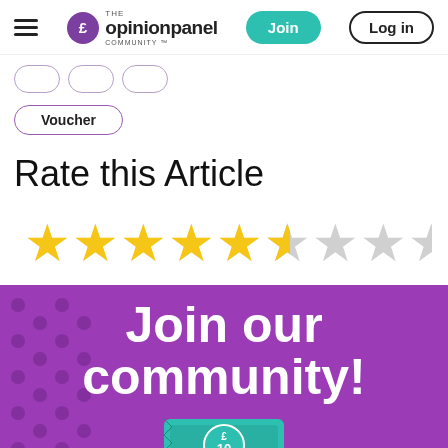The Opinion Panel Community — Join | Log in
Voucher
Rate this Article
[Figure (other): Star rating display showing 5.5 out of 10 stars — 5 full yellow stars, 1 half yellow star, 4 grey empty stars]
[Figure (other): Purple banner with polka dot pattern showing bold white text 'Join our community!' and a £10 banknote graphic at the bottom]